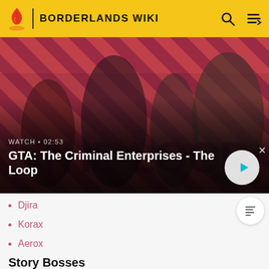BORDERLANDS WIKI
[Figure (screenshot): GTA: The Criminal Enterprises - The Loop promotional video banner showing four characters on a red striped background with a play button. Shows 'WATCH • 02:53' label.]
Djira
Korax
Aerox
Story Bosses
Anathema the Relentless